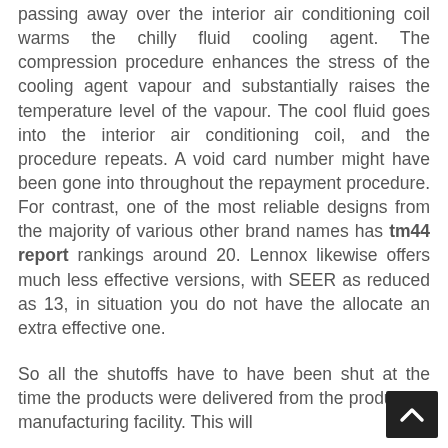passing away over the interior air conditioning coil warms the chilly fluid cooling agent. The compression procedure enhances the stress of the cooling agent vapour and substantially raises the temperature level of the vapour. The cool fluid goes into the interior air conditioning coil, and the procedure repeats. A void card number might have been gone into throughout the repayment procedure. For contrast, one of the most reliable designs from the majority of various other brand names has tm44 report rankings around 20. Lennox likewise offers much less effective versions, with SEER as reduced as 13, in situation you do not have the allocate an extra effective one.
So all the shutoffs have to have been shut at the time the products were delivered from the producer's manufacturing facility. This will